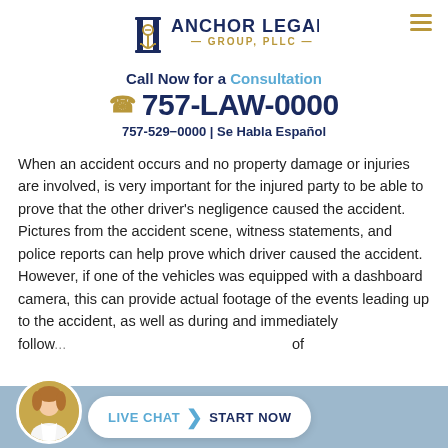[Figure (logo): Anchor Legal Group, PLLC logo with anchor and pillar icon]
Call Now for a Consultation
757-LAW-0000
757-529-0000 | Se Habla Español
When an accident occurs and no property damage or injuries are involved, is very important for the injured party to be able to prove that the other driver's negligence caused the accident. Pictures from the accident scene, witness statements, and police reports can help prove which driver caused the accident.  However, if one of the vehicles was equipped with a dashboard camera, this can provide actual footage of the events leading up to the accident, as well as during and immediately follow...c...of
[Figure (screenshot): Live chat button with agent avatar at bottom of page]